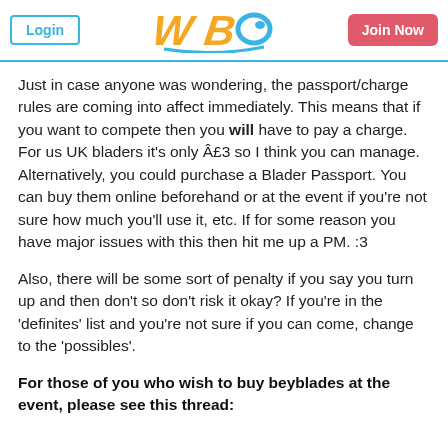Login | WBO Logo | Join Now
Just in case anyone was wondering, the passport/charge rules are coming into affect immediately. This means that if you want to compete then you will have to pay a charge. For us UK bladers it's only £3 so I think you can manage. Alternatively, you could purchase a Blader Passport. You can buy them online beforehand or at the event if you're not sure how much you'll use it, etc. If for some reason you have major issues with this then hit me up a PM. :3
Also, there will be some sort of penalty if you say you turn up and then don't so don't risk it okay? If you're in the 'definites' list and you're not sure if you can come, change to the 'possibles'.
For those of you who wish to buy beyblades at the event, please see this thread: